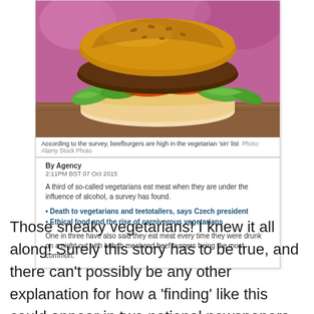[Figure (photo): Close-up photo of a beefburger with lettuce, tomato, and onion on a bun, with a purple/pink blurred background.]
According to the survey, beefburgers are high in the vegetarian 'sin' list  Photo: Alamy Stock Photo
By Agency
2:11PM BST 07 Oct 2015
A third of so-called vegetarians eat meat when they are under the influence of alcohol, a survey has found.
Death to vegetarians and teetotallers, says Czech president
Ethical food and the rise of carnivorous vegetarians
One in three have also said they eat meat every time they were drunk on a night out with kebab meat and beef burgers being the most common.
Those sneaky vegetarians! I knew it all along! Surely this story has to be true, and there can't possibly be any other explanation for how a 'finding' like this could appear in two national newspapers, right?